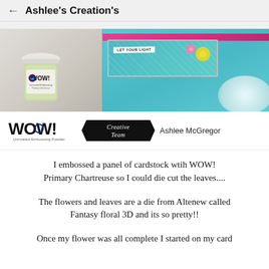Ashlee's Creation's
[Figure (photo): Photo collage: left side shows a WOW! embossing powder jar, right side shows a handmade card with 'LET YOUR LIGHT' text, flowers, on a teal background with doily]
[Figure (logo): WOW! Unrivaled Embossing Powder logo, Creative Team badge, and 'Ashlee McGregor' text]
I embossed a panel of cardstock wtih WOW!
Primary Chartreuse so I could die cut the leaves....
The flowers and leaves are a die from Altenew called
Fantasy floral 3D and its so pretty!!
Once my flower was all complete I started on my card